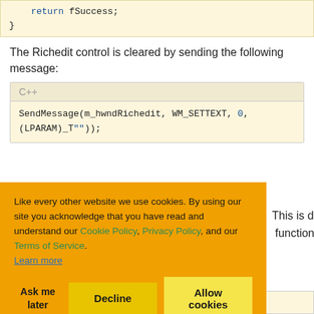[Figure (screenshot): Code snippet showing: return fSuccess; }]
The Richedit control is cleared by sending the following message:
[Figure (screenshot): C++ code block: SendMessage(m_hwndRichedit, WM_SETTEXT, 0, (LPARAM)_T(""));]
[Figure (screenshot): Cookie consent popup overlay with Cookie Policy, Privacy Policy, Terms of Service links, and Ask me later / Decline / Allow cookies buttons]
This is done by function
[Figure (screenshot): Bottom code snippet partial: ...llInfFilenam e, // inf file name]